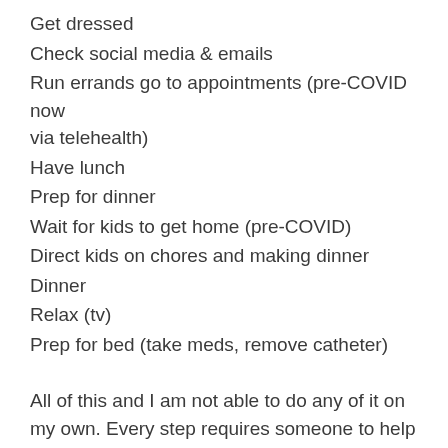Get dressed
Check social media & emails
Run errands go to appointments (pre-COVID now via telehealth)
Have lunch
Prep for dinner
Wait for kids to get home (pre-COVID)
Direct kids on chores and making dinner
Dinner
Relax (tv)
Prep for bed (take meds, remove catheter)
All of this and I am not able to do any of it on my own. Every step requires someone to help me. I can't get out of bed on my own, shower, eat, meds, bathroom, drive etc. Every person that functions as